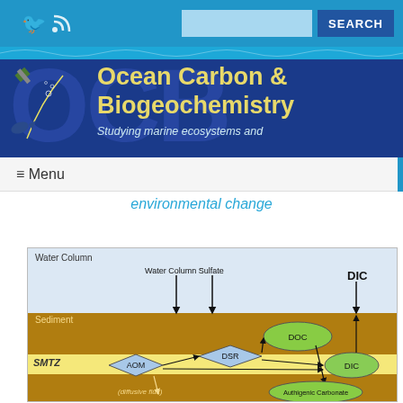[Figure (screenshot): Ocean Carbon & Biogeochemistry website header with Twitter/RSS icons, search bar, search button, wave graphic, dark blue background with OCB letters watermark, satellite illustration]
Ocean Carbon & Biogeochemistry
Studying marine ecosystems and
≡ Menu
environmental change
[Figure (schematic): Biogeochemical diagram showing Water Column, Sediment, and SMTZ zones. Arrows connect Water Column Sulfate, AON, DSR nodes. DOC and DIC ellipses shown in sediment. DIC label at top right with upward arrow. SMTZ band highlighted in yellow. Authigenic Carbonate at bottom right. Diffuse flux label at bottom.]